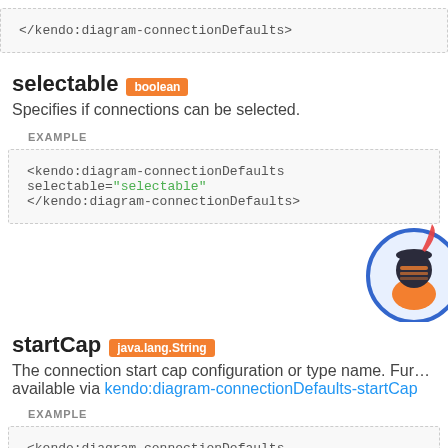</kendo:diagram-connectionDefaults>
selectable boolean
Specifies if connections can be selected.
EXAMPLE
<kendo:diagram-connectionDefaults selectable="selectable">
</kendo:diagram-connectionDefaults>
startCap java.lang.String
The connection start cap configuration or type name. Fur... available via kendo:diagram-connectionDefaults-startCap
EXAMPLE
<kendo:diagram-connectionDefaults startCap="startCap">